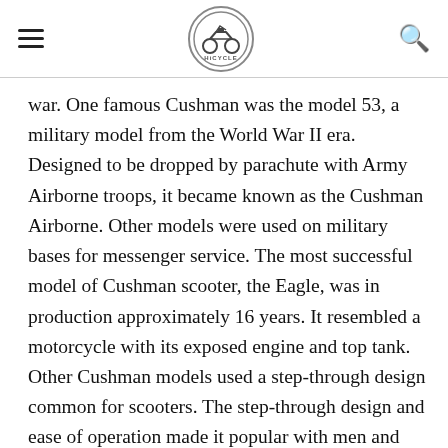[hamburger menu] [HiCycle logo] [search icon]
war. One famous Cushman was the model 53, a military model from the World War II era. Designed to be dropped by parachute with Army Airborne troops, it became known as the Cushman Airborne. Other models were used on military bases for messenger service. The most successful model of Cushman scooter, the Eagle, was in production approximately 16 years. It resembled a motorcycle with its exposed engine and top tank. Other Cushman models used a step-through design common for scooters. The step-through design and ease of operation made it popular with men and women alike. Some late-1950s Cushmans, designated Road King and Pacemaker, had jet-age body styling. Sears sold a